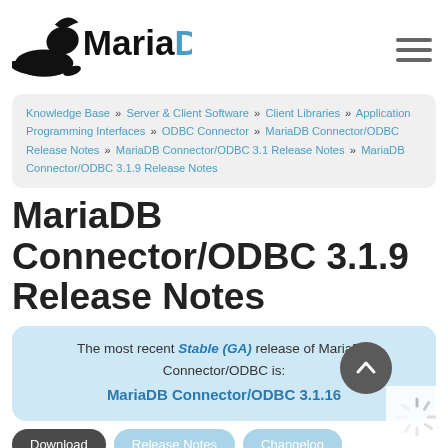[Figure (logo): MariaDB logo with seal silhouette and 'MariaDB' wordmark in black]
Knowledge Base » Server & Client Software » Client Libraries » Application Programming Interfaces » ODBC Connector » MariaDB Connector/ODBC Release Notes » MariaDB Connector/ODBC 3.1 Release Notes » MariaDB Connector/ODBC 3.1.9 Release Notes
MariaDB Connector/ODBC 3.1.9 Release Notes
The most recent Stable (GA) release of MariaDB Connector/ODBC is:
MariaDB Connector/ODBC 3.1.16
Download
Release Notes
Changelog